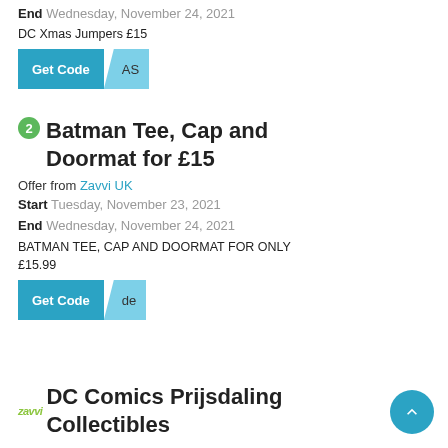End Wednesday, November 24, 2021
DC Xmas Jumpers £15
[Figure (other): Get Code button with partial coupon code 'AS' revealed]
2 Batman Tee, Cap and Doormat for £15
Offer from Zavvi UK
Start Tuesday, November 23, 2021
End Wednesday, November 24, 2021
BATMAN TEE, CAP AND DOORMAT FOR ONLY £15.99
[Figure (other): Get Code button with partial coupon code 'de' revealed]
zavvi DC Comics Prijsdaling Collectibles